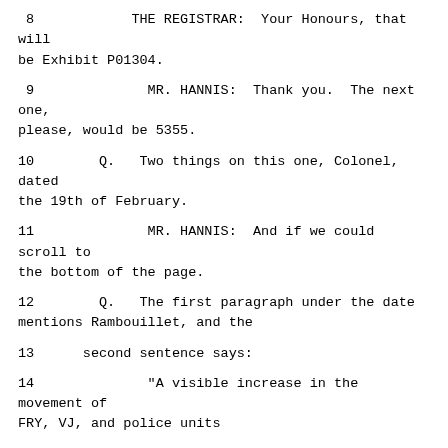8          THE REGISTRAR:  Your Honours, that will be Exhibit P01304.
9               MR. HANNIS:  Thank you.  The next one, please, would be 5355.
10        Q.   Two things on this one, Colonel, dated the 19th of February.
11              MR. HANNIS:  And if we could scroll to the bottom of the page.
12        Q.   The first paragraph under the date mentions Rambouillet, and the
13      second sentence says:
14              "A visible increase in the movement of FRY, VJ, and police units